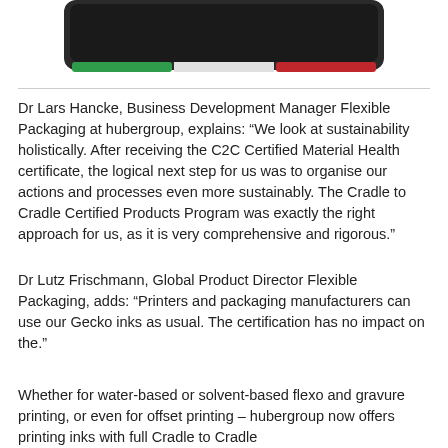[Figure (photo): A device or screen with a dark background and colored bar at bottom showing green, white, and red segments]
Dr Lars Hancke, Business Development Manager Flexible Packaging at hubergroup, explains: “We look at sustainability holistically. After receiving the C2C Certified Material Health certificate, the logical next step for us was to organise our actions and processes even more sustainably. The Cradle to Cradle Certified Products Program was exactly the right approach for us, as it is very comprehensive and rigorous.”
Dr Lutz Frischmann, Global Product Director Flexible Packaging, adds: “Printers and packaging manufacturers can use our Gecko inks as usual. The certification has no impact on the.”
Whether for water-based or solvent-based flexo and gravure printing, or even for offset printing – hubergroup now offers printing inks with full Cradle to Cradle